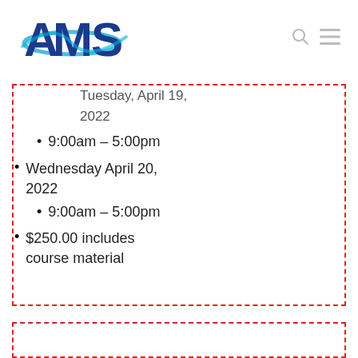AMS logo with search and menu icons
Tuesday, April 19, 2022
9:00am – 5:00pm
Wednesday April 20, 2022
9:00am – 5:00pm
$250.00 includes course material